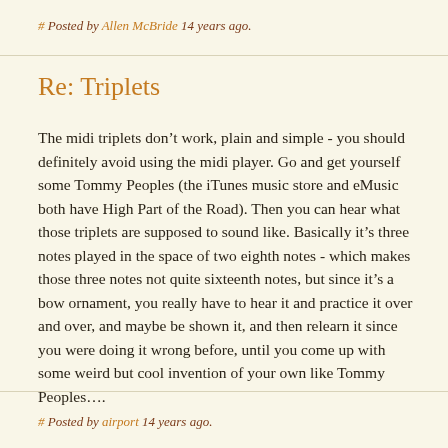# Posted by Allen McBride 14 years ago.
Re: Triplets
The midi triplets don’t work, plain and simple - you should definitely avoid using the midi player. Go and get yourself some Tommy Peoples (the iTunes music store and eMusic both have High Part of the Road). Then you can hear what those triplets are supposed to sound like. Basically it’s three notes played in the space of two eighth notes - which makes those three notes not quite sixteenth notes, but since it’s a bow ornament, you really have to hear it and practice it over and over, and maybe be shown it, and then relearn it since you were doing it wrong before, until you come up with some weird but cool invention of your own like Tommy Peoples….
# Posted by airport 14 years ago.